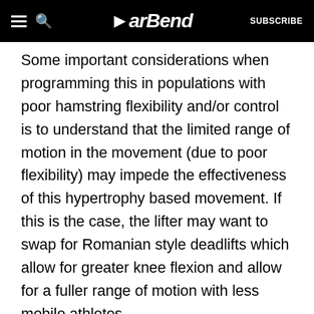BarBend — SUBSCRIBE
Some important considerations when programming this in populations with poor hamstring flexibility and/or control is to understand that the limited range of motion in the movement (due to poor flexibility) may impede the effectiveness of this hypertrophy based movement. If this is the case, the lifter may want to swap for Romanian style deadlifts which allow for greater knee flexion and allow for a fuller range of motion with less mobile athletes.
Final Words